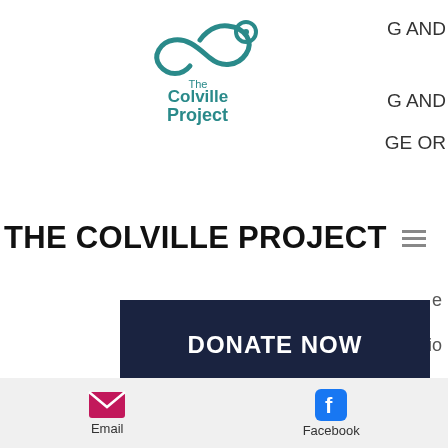[Figure (logo): The Colville Project logo — teal wave/circle icon above the text 'The Colville Project' in teal]
THE COLVILLE PROJECT
[Figure (other): DONATE NOW button — dark navy rectangle with white uppercase text]
korobela People who need success in their lifePeople who need ancestral and astral guidancePeople with trouble in familyPeople leaving unhealthy lives People with bad dreams People who need physical wellnessPeople who need spiritual guidance * NB. * Uses * 100% * traditional and spiritual guidance (AFRICAN)BRINGING AFRICA BACK TO THE ROOTS YOU CAN CONTACT DR ON OR
Email   Facebook